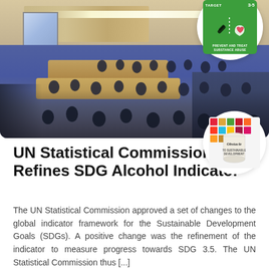[Figure (photo): UN Statistical Commission meeting room with many attendees seated at desks, viewed from above. Top right has an SDG Target 3-5 'Prevent and Treat Substance Abuse' green icon in a white circle. Middle right has a can labeled 'Obstacles to Sustainable Development' in a white circle.]
UN Statistical Commission Refines SDG Alcohol Indicator
The UN Statistical Commission approved a set of changes to the global indicator framework for the Sustainable Development Goals (SDGs). A positive change was the refinement of the indicator to measure progress towards SDG 3.5. The UN Statistical Commission thus [...]